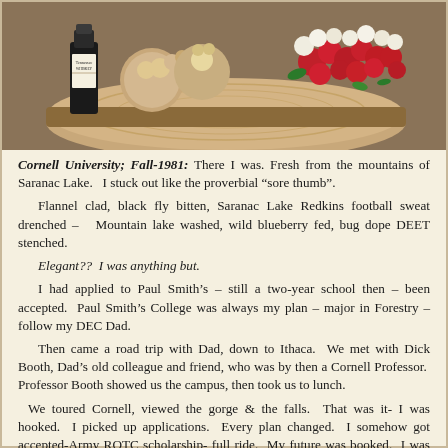[Figure (photo): Photograph showing decorative items on a wooden log slice/stump: stuffed animal toys, a Tennessee Whiskey bottle, and a bouquet of red and white flowers arranged on a rustic wooden surface.]
Cornell University; Fall-1981: There I was. Fresh from the mountains of Saranac Lake.   I stuck out like the proverbial “sore thumb”.
Flannel clad, black fly bitten, Saranac Lake Redkins football sweat drenched –   Mountain lake washed, wild blueberry fed, bug dope DEET stenched.
Elegant??  I was anything but.
I had applied to Paul Smith’s – still a two-year school then – been accepted.  Paul Smith’s College was always my plan – major in Forestry – follow my DEC Dad.
Then came a road trip with Dad, down to Ithaca.  We met with Dick Booth, Dad’s old colleague and friend, who was by then a Cornell Professor.  Professor Booth showed us the campus, then took us to lunch.
We toured Cornell, viewed the gorge & the falls.  That was it- I was hooked.  I picked up applications.  Every plan changed.  I somehow got accepted-Army ROTC scholarship- full ride.  My future was booked.  I was going big time, all my Paul Smith’s College plans cast aside.